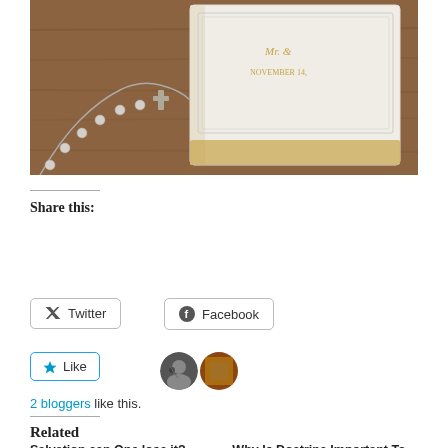[Figure (photo): A white hardcover Bible or book with gold lettering and a rosary with a cross resting on a wooden surface]
Share this:
Twitter  Facebook
Like  2 bloggers like this.
Related
Salvation can One lose it? And if that is possible Just
Why Is Doctrine Important To God?